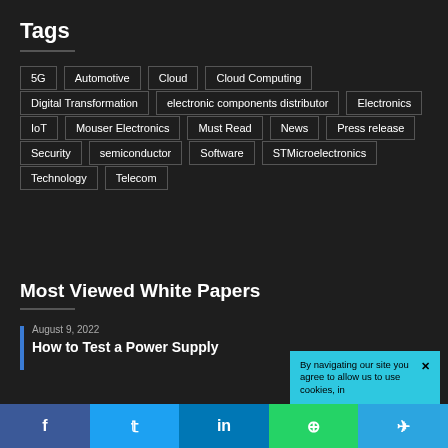Tags
5G
Automotive
Cloud
Cloud Computing
Digital Transformation
electronic components distributor
Electronics
IoT
Mouser Electronics
Must Read
News
Press release
Security
semiconductor
Software
STMicroelectronics
Technology
Telecom
Most Viewed White Papers
August 9, 2022
How to Test a Power Supply
By navigating our site you agree to allow us to use cookies, in